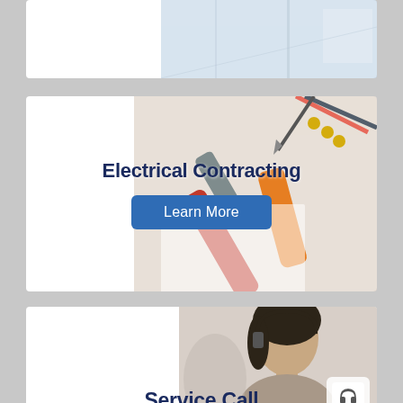[Figure (photo): Partial top card showing a light interior/architectural photo (office or hallway), partially visible at top of page]
[Figure (photo): Electrical contracting service card with photo of electrical tools (pliers, wires, drill bits, connectors) in the background, overlaid with bold title 'Electrical Contracting' and a blue 'Learn More' button]
[Figure (photo): Service Call card showing a woman wearing a headset (customer service representative) with a small headset icon badge in lower right corner, and bold title 'Service Call' at bottom]